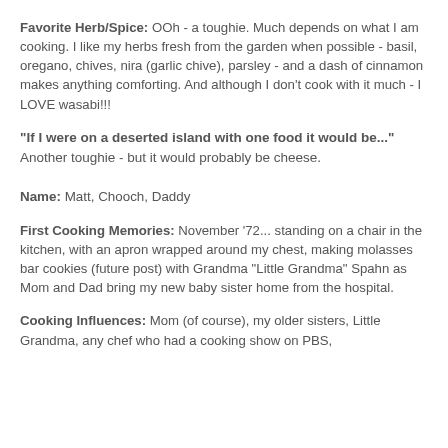Favorite Herb/Spice: OOh - a toughie. Much depends on what I am cooking. I like my herbs fresh from the garden when possible - basil, oregano, chives, nira (garlic chive), parsley - and a dash of cinnamon makes anything comforting. And although I don't cook with it much - I LOVE wasabi!!!
"If I were on a deserted island with one food it would be..." Another toughie - but it would probably be cheese.
Name: Matt, Chooch, Daddy
First Cooking Memories: November '72... standing on a chair in the kitchen, with an apron wrapped around my chest, making molasses bar cookies (future post) with Grandma "Little Grandma" Spahn as Mom and Dad bring my new baby sister home from the hospital.
Cooking Influences: Mom (of course), my older sisters, Little Grandma, any chef who had a cooking show on PBS,